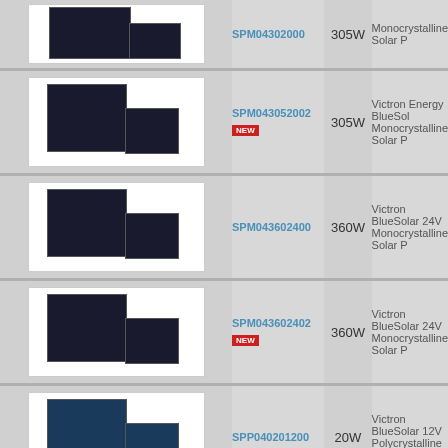| Image | SKU | Wattage | Description |
| --- | --- | --- | --- |
| [solar panel image] | SPM043052002 NEW | 305W | Victron Energy BlueSol Monocrystalline Solar P |
| [solar panel image] | SPM043602400 | 360W | Victron BlueSolar 24V Monocrystalline Solar P |
| [solar panel image] | SPM043602402 NEW | 360W | Victron BlueSolar 24V Monocrystalline Solar P |
| [solar panel image] | SPP040201200 | 20W | Victron BlueSolar 12V Polycrystalline Solar Pa |